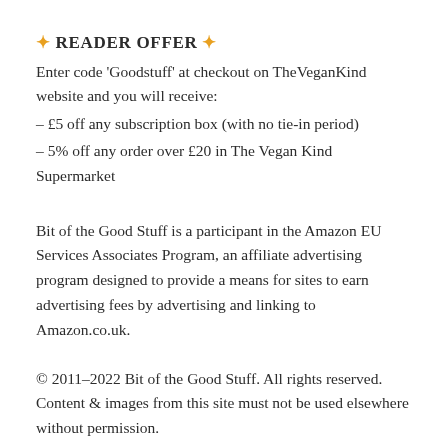✦ READER OFFER ✦
Enter code ‘Goodstuff’ at checkout on TheVeganKind website and you will receive:
– £5 off any subscription box (with no tie-in period)
– 5% off any order over £20 in The Vegan Kind Supermarket
Bit of the Good Stuff is a participant in the Amazon EU Services Associates Program, an affiliate advertising program designed to provide a means for sites to earn advertising fees by advertising and linking to Amazon.co.uk.
© 2011–2022 Bit of the Good Stuff. All rights reserved. Content & images from this site must not be used elsewhere without permission.